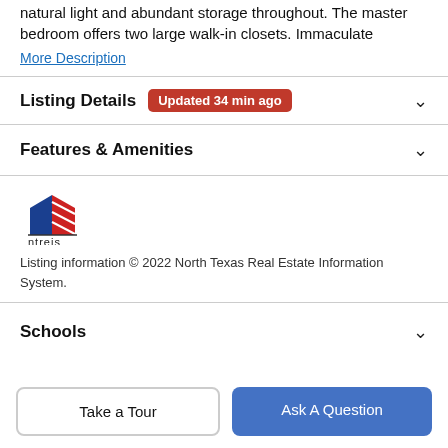natural light and abundant storage throughout. The master bedroom offers two large walk-in closets. Immaculate
More Description
Listing Details  Updated 34 min ago
Features & Amenities
[Figure (logo): NTREIS logo — stylized house/flag icon in red and blue with text 'ntreis' below]
Listing information © 2022 North Texas Real Estate Information System.
Schools
Take a Tour
Ask A Question